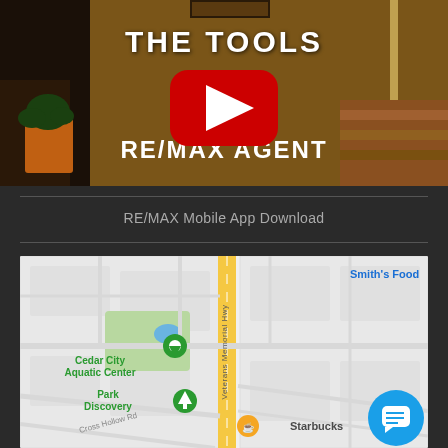[Figure (screenshot): YouTube video thumbnail showing RE/MAX agent promotional video with text 'THE TOOLS' and 'RE/MAX AGENT' overlaid on a warm-toned room scene with a YouTube play button in the center]
RE/MAX Mobile App Download
[Figure (map): Google Maps screenshot showing Cedar City area with markers for Cedar City Aquatic Center, Park Discovery, Starbucks, and Smith's Food. Veterans Memorial Hwy runs vertically through the map. Cross Hollow Rd is visible. A blue chat bubble widget appears in the bottom right corner.]